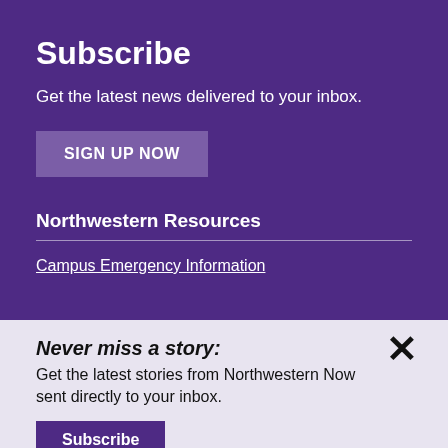Subscribe
Get the latest news delivered to your inbox.
SIGN UP NOW
Northwestern Resources
Campus Emergency Information
Never miss a story:
Get the latest stories from Northwestern Now sent directly to your inbox.
Subscribe